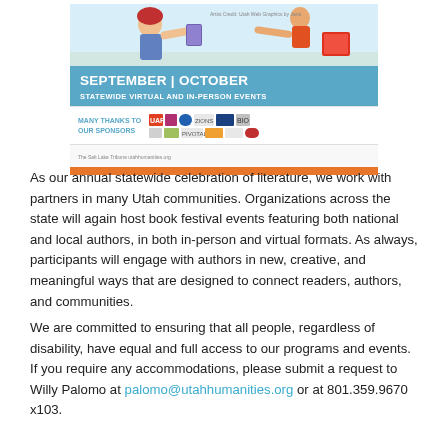[Figure (illustration): Book festival banner showing illustrated characters handing books, with 'SEPTEMBER | OCTOBER STATEWIDE VIRTUAL AND IN-PERSON EVENTS' on a blue background, 'MANY THANKS TO OUR SPONSORS' with sponsor logos, and an orange bar at the bottom.]
As our annual statewide celebration of literature, we work with partners in many Utah communities. Organizations across the state will again host book festival events featuring both national and local authors, in both in-person and virtual formats. As always, participants will engage with authors in new, creative, and meaningful ways that are designed to connect readers, authors, and communities.
We are committed to ensuring that all people, regardless of disability, have equal and full access to our programs and events. If you require any accommodations, please submit a request to Willy Palomo at palomo@utahhumanities.org or at 801.359.9670 x103.